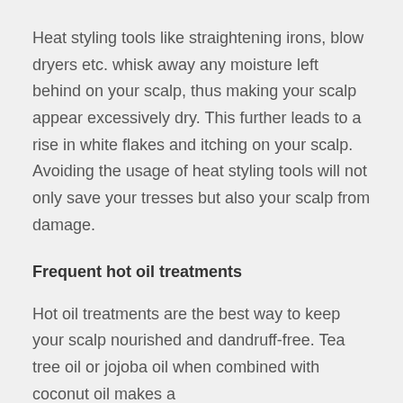Heat styling tools like straightening irons, blow dryers etc. whisk away any moisture left behind on your scalp, thus making your scalp appear excessively dry. This further leads to a rise in white flakes and itching on your scalp. Avoiding the usage of heat styling tools will not only save your tresses but also your scalp from damage.
Frequent hot oil treatments
Hot oil treatments are the best way to keep your scalp nourished and dandruff-free. Tea tree oil or jojoba oil when combined with coconut oil makes a